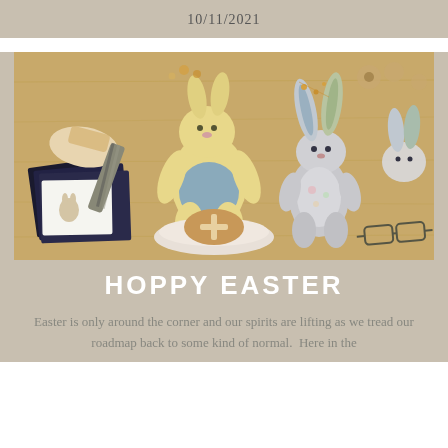10/11/2021
[Figure (photo): Overhead flat-lay photo on a wooden table showing two stuffed bunny toys (one yellow fluffy Peter Rabbit style, one grey fabric rabbit), a plate with hot cross buns, dark notebooks, jewellery pieces, wooden decorations, and a pair of glasses.]
HOPPY EASTER
Easter is only around the corner and our spirits are lifting as we tread our roadmap back to some kind of normal. Here in the